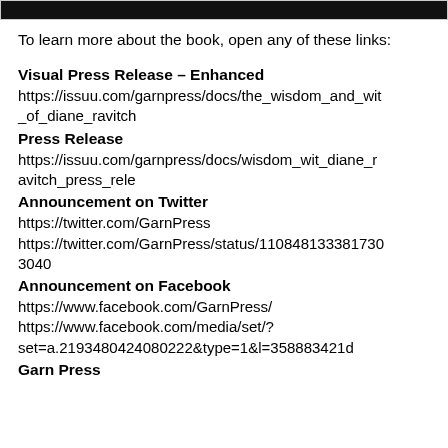[Figure (photo): Dark image bar at top of page]
To learn more about the book, open any of these links:
Visual Press Release – Enhanced
https://issuu.com/garnpress/docs/the_wisdom_and_wit_of_diane_ravitch
Press Release
https://issuu.com/garnpress/docs/wisdom_wit_diane_ravitch_press_rele
Announcement on Twitter
https://twitter.com/GarnPress
https://twitter.com/GarnPress/status/11084813338173 03040
Announcement on Facebook
https://www.facebook.com/GarnPress/
https://www.facebook.com/media/set/?set=a.2193480424080222&type=1&l=358883421d
Garn Press